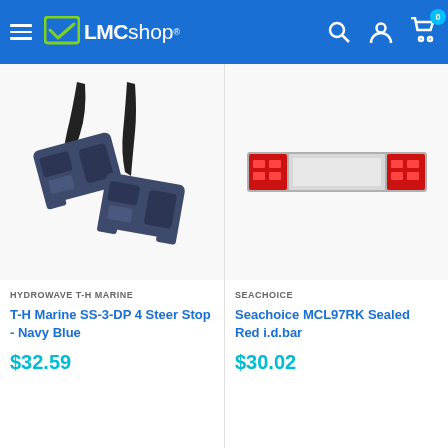LMCshop
[Figure (photo): Two navy blue T-H Marine SS-3-DP 4 Steer Stop hardware pieces with black cables attached]
HYDROWAVE T-H MARINE
T-H Marine SS-3-DP 4 Steer Stop - Navy Blue
$32.59
[Figure (photo): Seachoice MCL97RK Sealed Red i.d. bar light, rectangular red and silver light bar]
SEACHOICE
Seachoice MCL97RK Sealed Red i.d.bar
$30.02